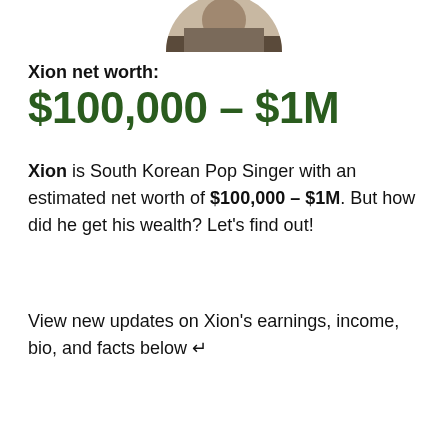[Figure (photo): Partial cropped circular profile photo showing the top portion of a person's head, visible at the top center of the page]
Xion net worth:
$100,000 - $1M
Xion is South Korean Pop Singer with an estimated net worth of $100,000 - $1M. But how did he get his wealth? Let's find out!
View new updates on Xion's earnings, income, bio, and facts below ↵